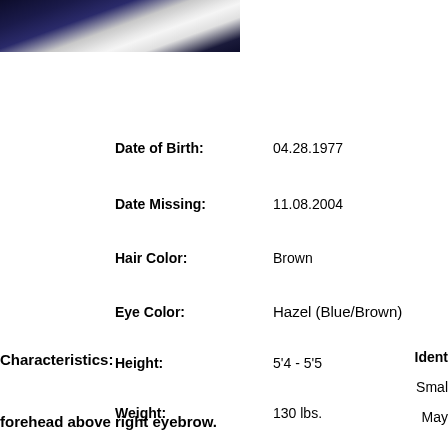[Figure (photo): Partial photo of a person, cropped at bottom, dark background on left side with light clothing visible]
Date of Birth: 04.28.1977
Date Missing: 11.08.2004
Hair Color: Brown
Eye Color: Hazel (Blue/Brown)
Height: 5'4 - 5'5
Weight: 130 lbs.
From State/County: 5078 Lacy Rd., Fitchburg (Madison) WI, USA
Characteristics:
forehead above right eyebrow.
Ident
Smal
May